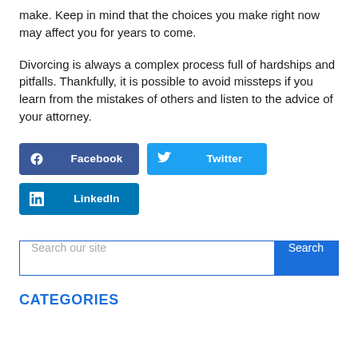make. Keep in mind that the choices you make right now may affect you for years to come.
Divorcing is always a complex process full of hardships and pitfalls. Thankfully, it is possible to avoid missteps if you learn from the mistakes of others and listen to the advice of your attorney.
[Figure (other): Social sharing buttons: Facebook (dark blue), Twitter (light blue), LinkedIn (medium blue)]
[Figure (other): Search bar with text 'Search our site' and a blue Search button]
CATEGORIES